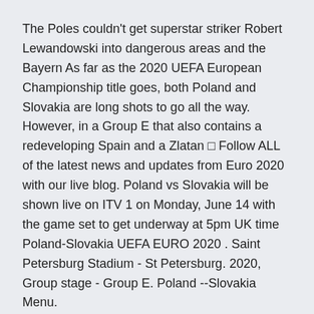The Poles couldn't get superstar striker Robert Lewandowski into dangerous areas and the Bayern As far as the 2020 UEFA European Championship title goes, both Poland and Slovakia are long shots to go all the way. However, in a Group E that also contains a redeveloping Spain and a Zlatan □ Follow ALL of the latest news and updates from Euro 2020 with our live blog. Poland vs Slovakia will be shown live on ITV 1 on Monday, June 14 with the game set to get underway at 5pm UK time Poland-Slovakia UEFA EURO 2020 . Saint Petersburg Stadium - St Petersburg. 2020, Group stage - Group E. Poland --Slovakia Menu.